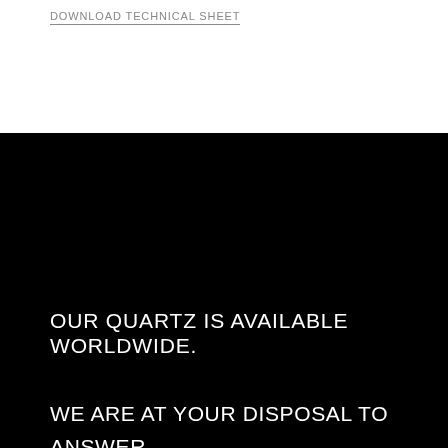DOWNLOAD TECHNICAL SHEET
OUR QUARTZ IS AVAILABLE WORLDWIDE.
WE ARE AT YOUR DISPOSAL TO ANSWER ANY QUESTIONS, FULFIL YOUR SAMPLES REQUEST OR SOLVE ANY COMMERCIAL, TECHNICAL OR